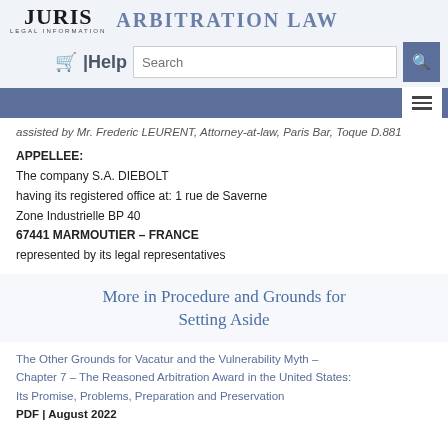JURIS LEGAL INFORMATION · ARBITRATION LAW
assisted by Mr. Frederic LEURENT, Attorney-at-law, Paris Bar, Toque D.881
APPELLEE:
The company S.A. DIEBOLT
having its registered office at: 1 rue de Saverne
Zone Industrielle BP 40
67441 MARMOUTIER – FRANCE
represented by its legal representatives
More in Procedure and Grounds for Setting Aside
The Other Grounds for Vacatur and the Vulnerability Myth – Chapter 7 – The Reasoned Arbitration Award in the United States: Its Promise, Problems, Preparation and Preservation
PDF | August 2022